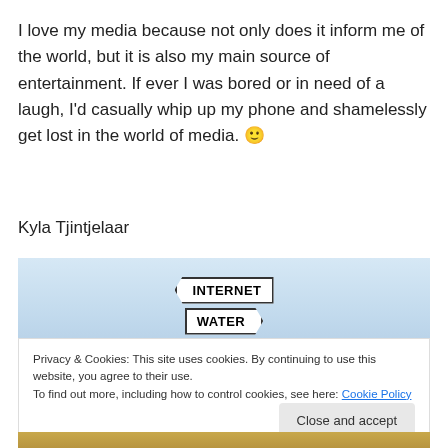I love my media because not only does it inform me of the world, but it is also my main source of entertainment. If ever I was bored or in need of a laugh, I'd casually whip up my phone and shamelessly get lost in the world of media. 🙂
Kyla Tjintjelaar
[Figure (illustration): Road signs illustration showing two directional signs labeled INTERNET and WATER on a light blue sky background]
Privacy & Cookies: This site uses cookies. By continuing to use this website, you agree to their use.
To find out more, including how to control cookies, see here: Cookie Policy